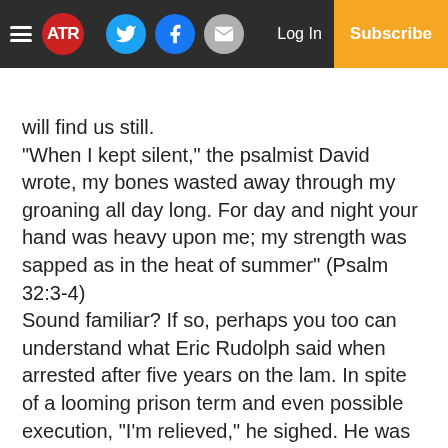ATR | Log In | Subscribe
will find us still.
“When I kept silent,” the psalmist David wrote, my bones wasted away through my groaning all day long. For day and night your hand was heavy upon me; my strength was sapped as in the heat of summer” (Psalm 32:3-4)
Sound familiar? If so, perhaps you too can understand what Eric Rudolph said when arrested after five years on the lam. In spite of a looming prison term and even possible execution, “I’m relieved,” he sighed. He was glad the running and hiding were over.